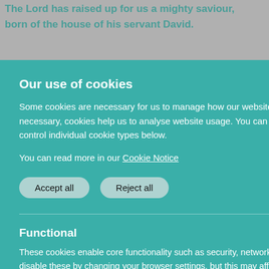The Lord has raised up for us a mighty saviour, born of the house of his servant David.
Our use of cookies
Some cookies are necessary for us to manage how our website behaves while other optional, or non-necessary, cookies help us to analyse website usage. You can Accept All or Reject All optional cookies or control individual cookie types below.
You can read more in our Cookie Notice
Accept all
Reject all
Functional
These cookies enable core functionality such as security, network management, and accessibility. You may disable these by changing your browser settings, but this may affect how the website functions.
Analytics cookies
Analytical cookies help us to improve our website by collecting and reporting information on its usage.